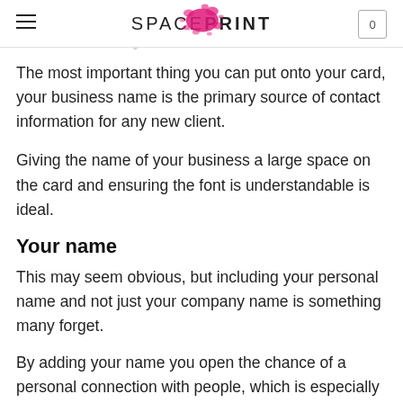SPACEPRINT
The name of your business
The most important thing you can put onto your card, your business name is the primary source of contact information for any new client.
Giving the name of your business a large space on the card and ensuring the font is understandable is ideal.
Your name
This may seem obvious, but including your personal name and not just your company name is something many forget.
By adding your name you open the chance of a personal connection with people, which is especially important if you are a small business owner.